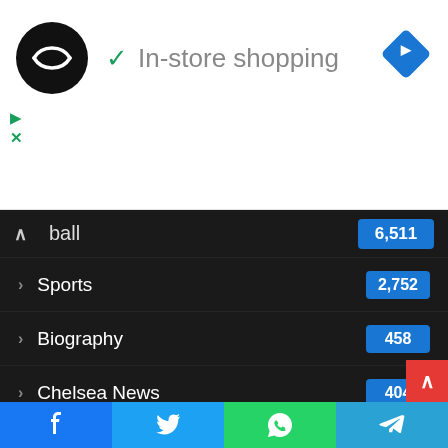[Figure (screenshot): Ad banner with circular logo, checkmark, 'In-store shopping' text, and blue diamond navigation icon]
Football — 6,511
Sports — 2,752
Biography — 458
Chelsea News — 404
Uncategorized — 65
Liverpool News — 50
Nigeria Sports News — 47
Manchester United News — 46
Boxing — 37
2021 AFCON News
[Figure (screenshot): Social sharing bar with Facebook, Twitter, WhatsApp, Telegram buttons]